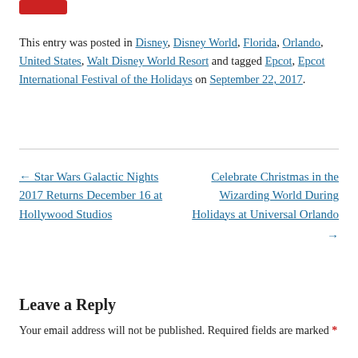[Figure (logo): Red rounded rectangle logo/icon in top left corner]
This entry was posted in Disney, Disney World, Florida, Orlando, United States, Walt Disney World Resort and tagged Epcot, Epcot International Festival of the Holidays on September 22, 2017.
← Star Wars Galactic Nights 2017 Returns December 16 at Hollywood Studios
Celebrate Christmas in the Wizarding World During Holidays at Universal Orlando →
Leave a Reply
Your email address will not be published. Required fields are marked *